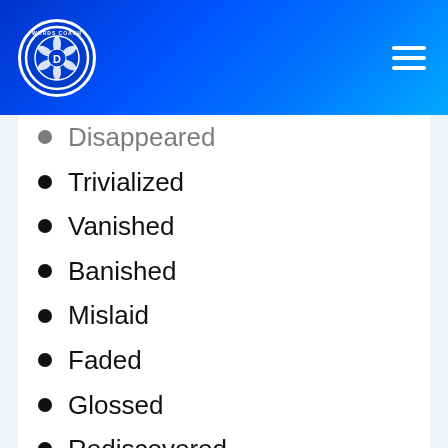[Figure (logo): Words Coach circular logo with camera aperture design and letter D, on blue gradient header with hamburger menu icon]
Disappeared
Trivialized
Vanished
Banished
Mislaid
Faded
Glossed
Rediscovered
Misplaced
Discarded